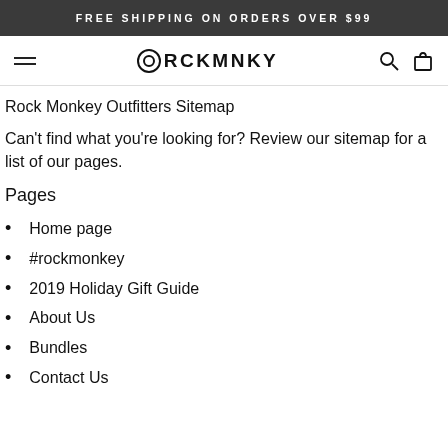FREE SHIPPING ON ORDERS OVER $99
[Figure (logo): RCKMNKY logo with hamburger menu, search and cart icons in navigation bar]
Rock Monkey Outfitters Sitemap
Can't find what you're looking for? Review our sitemap for a list of our pages.
Pages
Home page
#rockmonkey
2019 Holiday Gift Guide
About Us
Bundles
Contact Us